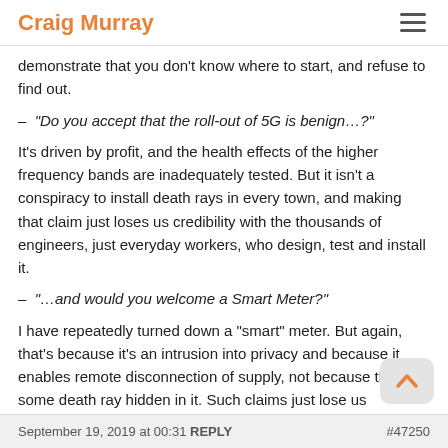Craig Murray
demonstrate that you don't know where to start, and refuse to find out.
– “Do you accept that the roll-out of 5G is benign…?”
It's driven by profit, and the health effects of the higher frequency bands are inadequately tested. But it isn't a conspiracy to install death rays in every town, and making that claim just loses us credibility with the thousands of engineers, just everyday workers, who design, test and install it.
– “…and would you welcome a Smart Meter?”
I have repeatedly turned down a "smart" meter. But again, that's because it's an intrusion into privacy and because it enables remote disconnection of supply, not because there's some death ray hidden in it. Such claims just lose us credibility, because they are not consistent with evidence.
September 19, 2019 at 00:31 REPLY  #47250